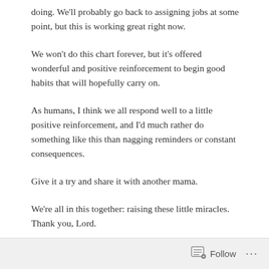doing. We'll probably go back to assigning jobs at some point, but this is working great right now.
We won't do this chart forever, but it's offered wonderful and positive reinforcement to begin good habits that will hopefully carry on.
As humans, I think we all respond well to a little positive reinforcement, and I'd much rather do something like this than nagging reminders or constant consequences.
Give it a try and share it with another mama.
We're all in this together: raising these little miracles. Thank you, Lord.
Follow